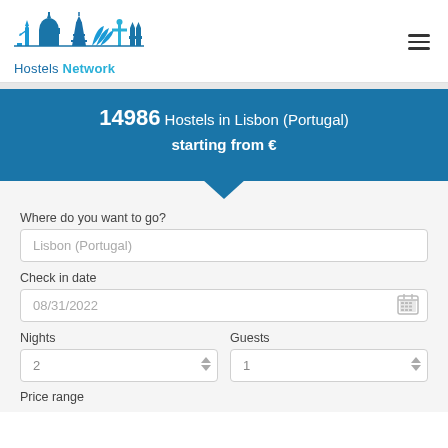[Figure (logo): Hostels Network logo with city skyline silhouette in blue tones]
14986 Hostels in Lisbon (Portugal)
starting from €
Where do you want to go?
Lisbon (Portugal)
Check in date
08/31/2022
Nights
2
Guests
1
Price range